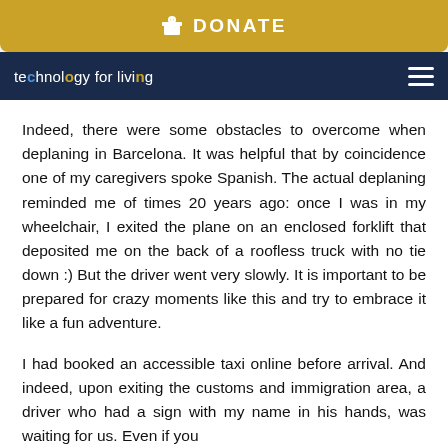DONATE
technology for living
Indeed, there were some obstacles to overcome when deplaning in Barcelona. It was helpful that by coincidence one of my caregivers spoke Spanish. The actual deplaning reminded me of times 20 years ago: once I was in my wheelchair, I exited the plane on an enclosed forklift that deposited me on the back of a roofless truck with no tie down :) But the driver went very slowly. It is important to be prepared for crazy moments like this and try to embrace it like a fun adventure.
I had booked an accessible taxi online before arrival. And indeed, upon exiting the customs and immigration area, a driver who had a sign with my name in his hands, was waiting for us. Even if you